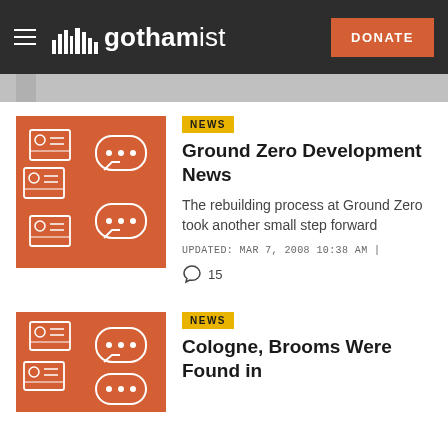gothamist — DONATE
[Figure (screenshot): Partial top of a previous article image, cut off]
[Figure (illustration): Orange thumbnail with white line-art icons: person cards and speech bubbles]
NEWS
Ground Zero Development News
The rebuilding process at Ground Zero took another small step forward
UPDATED: MAR 7, 2008 10:38 AM | 15
[Figure (illustration): Orange thumbnail with white line-art icons: person cards and speech bubbles]
NEWS
Cologne, Brooms Were Found in